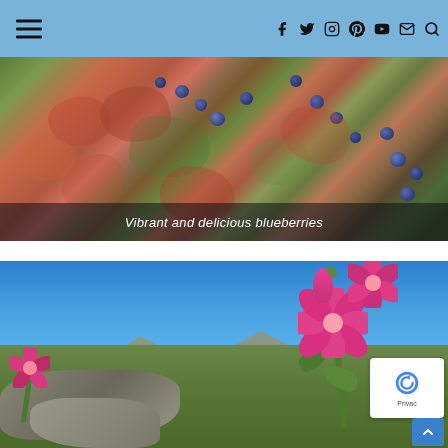Navigation bar with hamburger menu and social icons (Facebook, Twitter, Instagram, Pinterest, YouTube, Email, Search)
[Figure (photo): Close-up photograph of blueberry bushes with ripe blue-purple berries among reddish-pink autumn leaves and green foliage]
Vibrant and delicious blueberries
[Figure (photo): Photograph of bright pink wildflowers in the foreground with a mountain landscape and clear blue sky in the background]